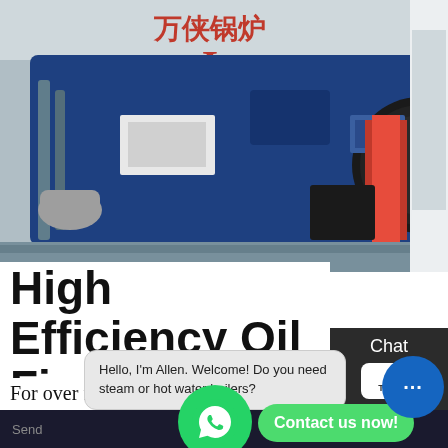[Figure (photo): Industrial boiler room photograph showing a large blue horizontal steam boiler with Chinese red characters on the front, a circular door/burner assembly, red vertical components, and various pipes and machinery. The boiler manufacturer signage reads in Chinese characters.]
High Efficiency Oil Fired Condensing Boilers For Home
For over forty years, Grant has produced some of the most efficient oil-fired boilers in the UK. A new condensing boiler from Grant has significantly improved efficiencies
Hello, I'm Allen. Welcome! Do you need steam or hot water boilers?
Send